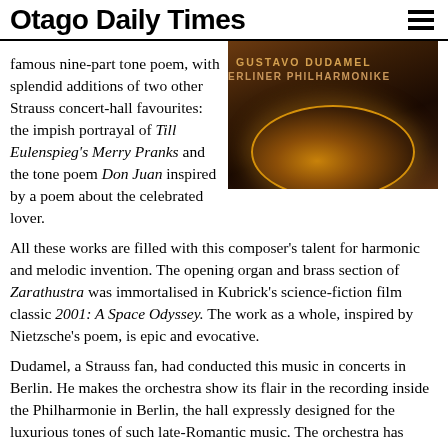Otago Daily Times
famous nine-part tone poem, with splendid additions of two other Strauss concert-hall favourites: the impish portrayal of Till Eulenspieg's Merry Pranks and the tone poem Don Juan inspired by a poem about the celebrated lover.
[Figure (photo): Album cover showing GUSTAVO DUDAMEL BERLINER PHILHARMONIKER text over a dark space/planetary image with a glowing planet or celestial body]
All these works are filled with this composer's talent for harmonic and melodic invention. The opening organ and brass section of Zarathustra was immortalised in Kubrick's science-fiction film classic 2001: A Space Odyssey. The work as a whole, inspired by Nietzsche's poem, is epic and evocative.
Dudamel, a Strauss fan, had conducted this music in concerts in Berlin. He makes the orchestra show its flair in the recording inside the Philharmonie in Berlin, the hall expressly designed for the luxurious tones of such late-Romantic music. The orchestra has these works "running in its veins" (according to Deutsche Grammophon president) and Strauss